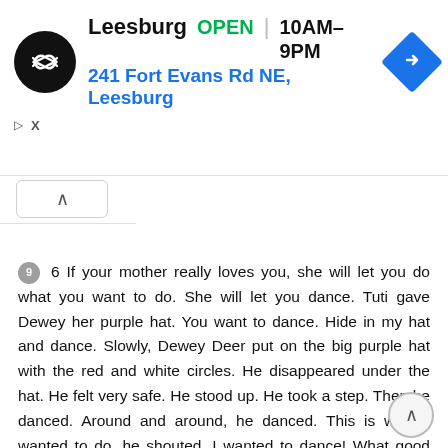[Figure (screenshot): Advertisement banner for a store in Leesburg showing store logo, OPEN status, hours 10AM-9PM, and address 241 Fort Evans Rd NE, Leesburg with navigation icon]
9  6 If your mother really loves you, she will let you do what you want to do. She will let you dance. Tuti gave Dewey her purple hat. You want to dance. Hide in my hat and dance. Slowly, Dewey Deer put on the big purple hat with the red and white circles. He disappeared under the hat. He felt very safe. He stood up. He took a step. Then he danced. Around and around, he danced. This is what I wanted to do, he shouted. I wanted to dance! What good luck that you came with your hat! Tuti laughed again. It isn t luck, she said. There is no such thing as luck. I love you. That s why I help you do what you want to do.
10  7 That isn t love, called another voice. Love is when